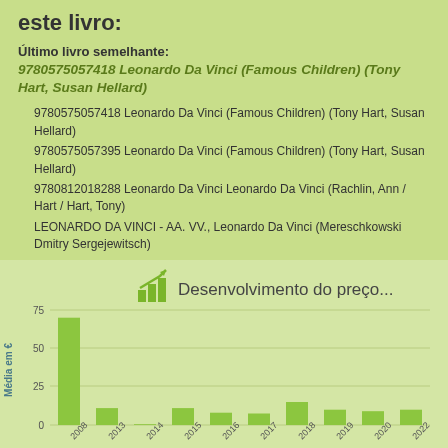este livro:
Último livro semelhante:
9780575057418 Leonardo Da Vinci (Famous Children) (Tony Hart, Susan Hellard)
9780575057418 Leonardo Da Vinci (Famous Children) (Tony Hart, Susan Hellard)
9780575057395 Leonardo Da Vinci (Famous Children) (Tony Hart, Susan Hellard)
9780812018288 Leonardo Da Vinci Leonardo Da Vinci (Rachlin, Ann / Hart / Hart, Tony)
LEONARDO DA VINCI - AA. VV., Leonardo Da Vinci (Mereschkowski Dmitry Sergejewitsch)
[Figure (bar-chart): Desenvolvimento do preço...]